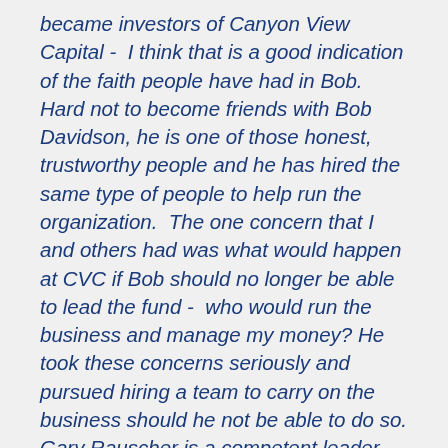became investors of Canyon View Capital - I think that is a good indication of the faith people have had in Bob. Hard not to become friends with Bob Davidson, he is one of those honest, trustworthy people and he has hired the same type of people to help run the organization.  The one concern that I and others had was what would happen at CVC if Bob should no longer be able to lead the fund -  who would run the business and manage my money? He took these concerns seriously and pursued hiring a team to carry on the business should he not be able to do so. Gary Rauscher is a competent leader whom I have come to trust in his ability to lead the organization and the funds, and appreciate his integrity and care for the investors.  All my questions are always